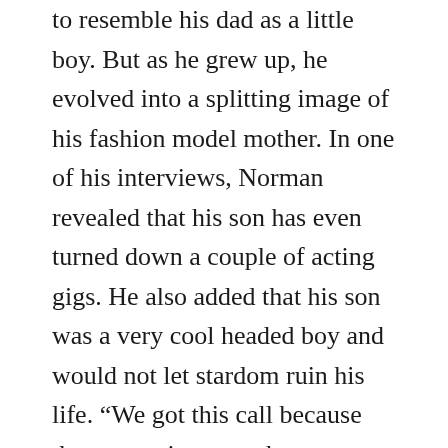to resemble his dad as a little boy. But as he grew up, he evolved into a splitting image of his fashion model mother. In one of his interviews, Norman revealed that his son has even turned down a couple of acting gigs. He also added that his son was a very cool headed boy and would not let stardom ruin his life. “We got this call because they are going to make a new ‘Spider-Man,’ and he’s like 14 or 15,” Mingus dad Norman Reedus told in an interview in 2015. He added; “They asked, ‘Would Mingus want to audition for ‘Spider-Man?’ He’s had a couple of these calls, and he always said no to all of them.” Speaking about the reason his son gave, he said it was because he “didn’t want to ruin his life” and